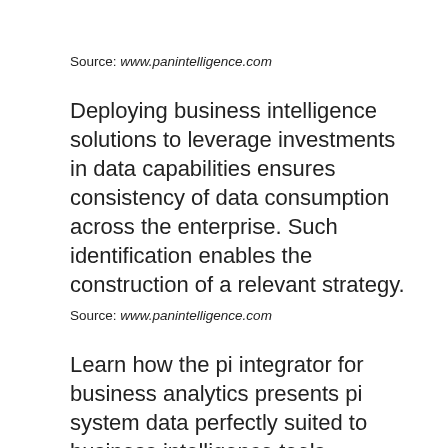Source: www.panintelligence.com
Deploying business intelligence solutions to leverage investments in data capabilities ensures consistency of data consumption across the enterprise. Such identification enables the construction of a relevant strategy.
Source: www.panintelligence.com
Learn how the pi integrator for business analytics presents pi system data perfectly suited to business intelligence tools including but not limited to table. 1 gartner, magic